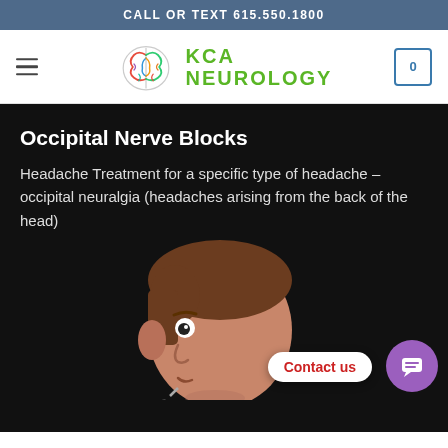CALL OR TEXT 615.550.1800
[Figure (logo): KCA Neurology logo with colorful brain icon and green text reading KCA NEUROLOGY]
Occipital Nerve Blocks
Headache Treatment for a specific type of headache – occipital neuralgia (headaches arising from the back of the head)
[Figure (illustration): Cartoon illustration of a person's head in profile on a dark background, with a syringe near the back of the head, depicting an occipital nerve block procedure. A 'Contact us' button and purple chat bubble icon are overlaid.]